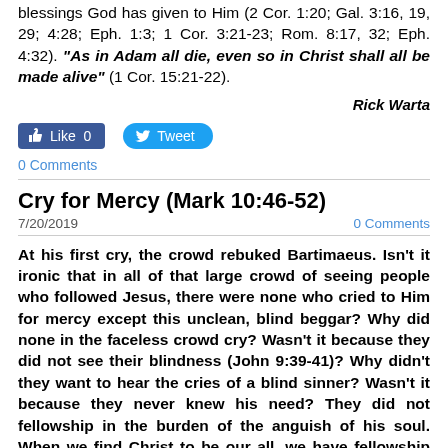blessings God has given to Him (2 Cor. 1:20; Gal. 3:16, 19, 29; 4:28; Eph. 1:3; 1 Cor. 3:21-23; Rom. 8:17, 32; Eph. 4:32). "As in Adam all die, even so in Christ shall all be made alive" (1 Cor. 15:21-22).
Rick Warta
[Figure (other): Facebook Like button showing 0 likes and Twitter Tweet button]
0 Comments
Cry for Mercy (Mark 10:46-52)
7/20/2019
0 Comments
At his first cry, the crowd rebuked Bartimaeus. Isn't it ironic that in all of that large crowd of seeing people who followed Jesus, there were none who cried to Him for mercy except this unclean, blind beggar? Why did none in the faceless crowd cry? Wasn't it because they did not see their blindness (John 9:39-41)? Why didn't they want to hear the cries of a blind sinner? Wasn't it because they never knew his need? They did not fellowship in the burden of the anguish of his soul. When we find Christ to be our all, we have fellowship with those rescued from the